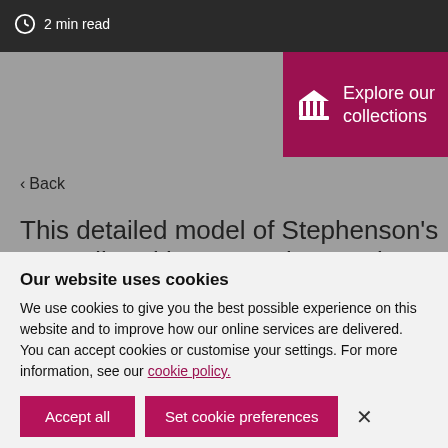2 min read
[Figure (screenshot): Explore our collections button with museum/pillars icon on dark pink/magenta background]
< Back
This detailed model of Stephenson's groundbreaking steam locomotive
Our website uses cookies
We use cookies to give you the best possible experience on this website and to improve how our online services are delivered. You can accept cookies or customise your settings. For more information, see our cookie policy.
Accept all | Set cookie preferences | ×